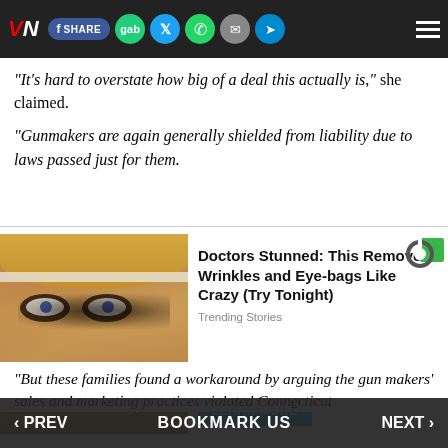VN | Share | gab | Twitter | WhatsApp | Email | Telegram | Menu
"It's hard to overstate how big of a deal this actually is," she claimed.
"Gunmakers are again generally shielded from liability due to laws passed just for them.
[Figure (photo): Advertisement photo showing a woman with dark eye makeup circles, alongside ad text: 'Doctors Stunned: This Removes Wrinkles and Eye-bags Like Crazy (Try Tonight)' with a 'LEARN MORE' button and 'Trending Stories' source label.]
"But these families found a workaround by arguing the gun makers' sales and marketing practices violated Connecticut
‹ PREV    BOOKMARK US    NEXT ›